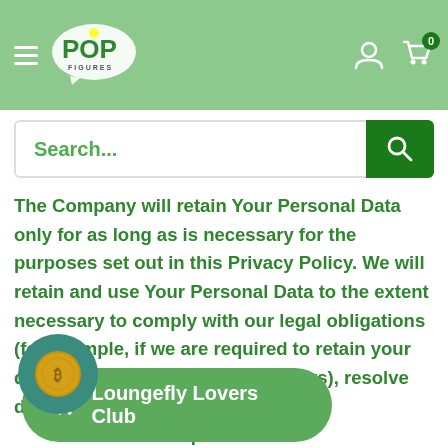[Figure (screenshot): Pop Figures website header with hamburger menu, Pop Figures logo, user account icon, and cart icon with 0 badge, on green background]
[Figure (screenshot): Search bar with placeholder text 'Search...' and green search button with magnifying glass icon]
The Company will retain Your Personal Data only for as long as is necessary for the purposes set out in this Privacy Policy. We will retain and use Your Personal Data to the extent necessary to comply with our legal obligations (for example, if we are required to retain your data to comply with applicable laws), resolve disputes, and policies.
[Figure (screenshot): Floating green rounded button with shopping cart icon and text 'Loungefly Lovers Club']
The Company will also retain Usage Data for internal analysis purposes. Usage Data is generally retained for a period of time, except when this data is used to strengthen the security or to improve the functionality of
[Figure (illustration): Teal circle with gold coin icon]